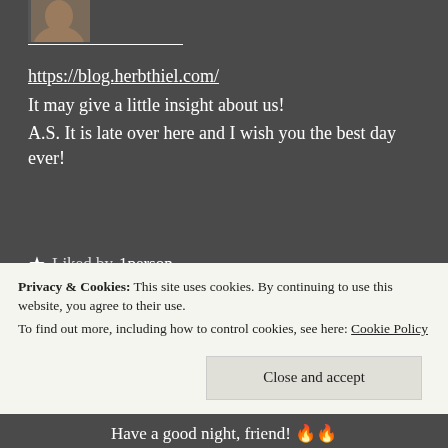[Figure (photo): Small avatar/profile photo thumbnail at top left, partially cropped]
https://blog.herbthiel.com/
It may give a little insight about us!
A.S. It is late over here and I wish you the best day ever!
★ Liked by 1person
[Figure (photo): Red circular avatar with initials, partially visible at bottom]
Privacy & Cookies: This site uses cookies. By continuing to use this website, you agree to their use.
To find out more, including how to control cookies, see here: Cookie Policy
Close and accept
Have a good night, friend! 🔥🔥